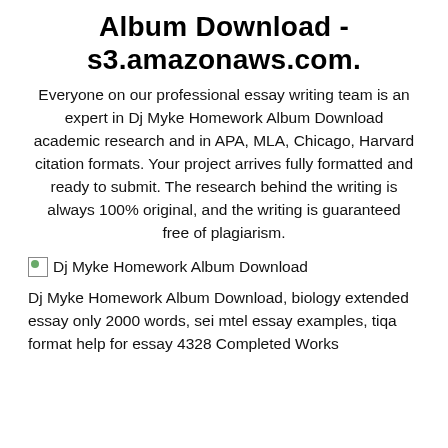Album Download - s3.amazonaws.com.
Everyone on our professional essay writing team is an expert in Dj Myke Homework Album Download academic research and in APA, MLA, Chicago, Harvard citation formats. Your project arrives fully formatted and ready to submit. The research behind the writing is always 100% original, and the writing is guaranteed free of plagiarism.
[Figure (illustration): Broken/placeholder image icon with alt text: Dj Myke Homework Album Download]
Dj Myke Homework Album Download, biology extended essay only 2000 words, sei mtel essay examples, tiqa format help for essay 4328 Completed Works